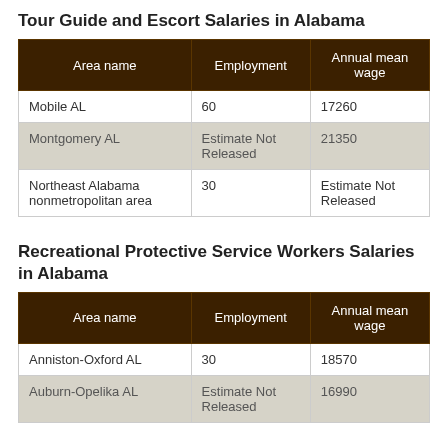Tour Guide and Escort Salaries in Alabama
| Area name | Employment | Annual mean wage |
| --- | --- | --- |
| Mobile AL | 60 | 17260 |
| Montgomery AL | Estimate Not Released | 21350 |
| Northeast Alabama nonmetropolitan area | 30 | Estimate Not Released |
Recreational Protective Service Workers Salaries in Alabama
| Area name | Employment | Annual mean wage |
| --- | --- | --- |
| Anniston-Oxford AL | 30 | 18570 |
| Auburn-Opelika AL | Estimate Not Released | 16990 |